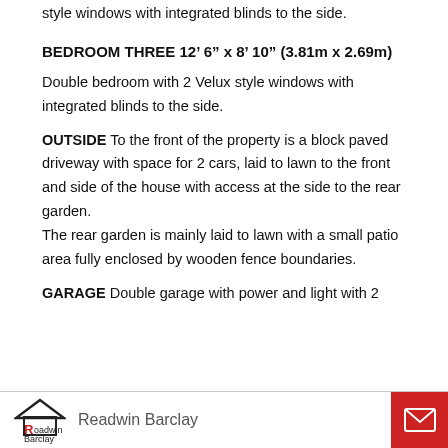style windows with integrated blinds to the side.
BEDROOM THREE 12’ 6” x 8’ 10” (3.81m x 2.69m)
Double bedroom with 2 Velux style windows with integrated blinds to the side.
OUTSIDE To the front of the property is a block paved driveway with space for 2 cars, laid to lawn to the front and side of the house with access at the side to the rear garden.
The rear garden is mainly laid to lawn with a small patio area fully enclosed by wooden fence boundaries.
GARAGE Double garage with power and light with 2
Readwin Barclay